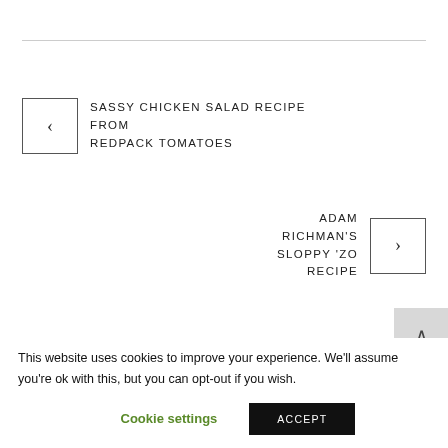[Figure (other): Navigation link to previous recipe: left arrow box with label 'SASSY CHICKEN SALAD RECIPE FROM REDPACK TOMATOES']
[Figure (other): Navigation link to next recipe: right arrow box with label 'ADAM RICHMAN'S SLOPPY 'ZO RECIPE']
[Figure (other): Scroll to top button with upward caret on grey background]
This website uses cookies to improve your experience. We'll assume you're ok with this, but you can opt-out if you wish.
Cookie settings   ACCEPT